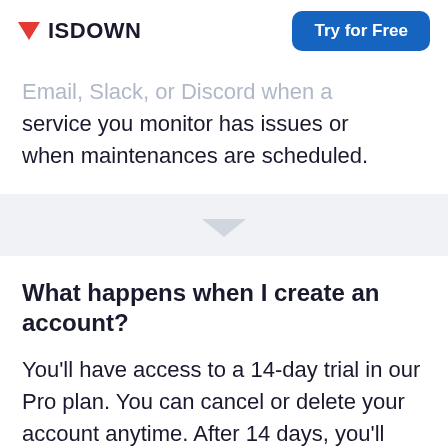ISDOWN | Try for Free
Email, Slack, or Discord when a service you monitor has issues or when maintenances are scheduled.
What happens when I create an account?
You'll have access to a 14-day trial in our Pro plan. You can cancel or delete your account anytime. After 14 days, you'll need to subscribe to continue to use the service and get notifications.